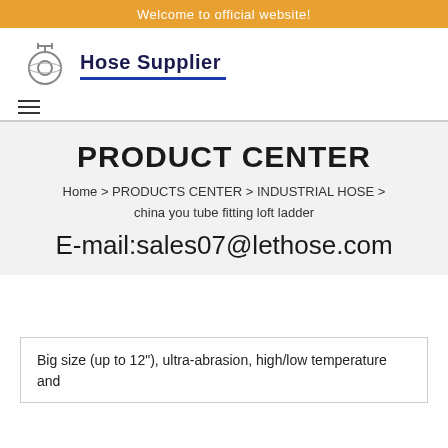Welcome to official website!
[Figure (logo): Hose Supplier logo with hose reel icon and blue underline]
[Figure (other): Hamburger menu icon (three horizontal lines)]
PRODUCT CENTER
Home > PRODUCTS CENTER > INDUSTRIAL HOSE > china you tube fitting loft ladder
E-mail:sales07@lethose.com
Big size (up to 12"), ultra-abrasion, high/low temperature and